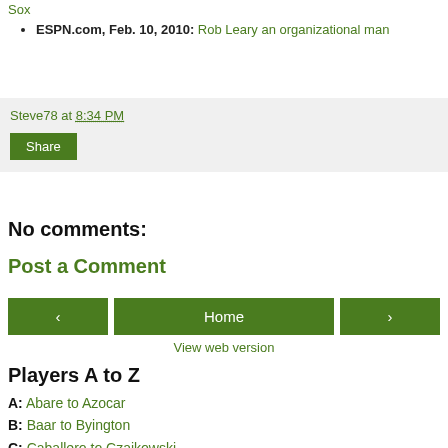Sox
ESPN.com, Feb. 10, 2010: Rob Leary an organizational man
Steve78 at 8:34 PM
Share
No comments:
Post a Comment
< Home >
View web version
Players A to Z
A: Abare to Azocar
B: Baar to Byington
C: Caballero to Czajkowski
D: Dohnay to Dziedziewicz